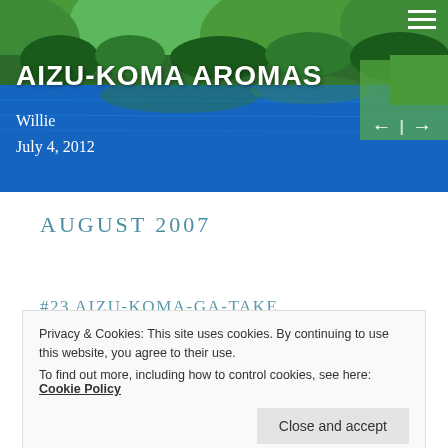[Figure (photo): Hero banner photograph of a mountain lake with vivid blue water, lush green hills and trees reflected in the water, used as the website header background.]
AIZU-KOMA AROMAS
Willie
July 4, 2012
AUGUST 2007
#23  AIZU-KOMA-GA-TAKE
Privacy & Cookies: This site uses cookies. By continuing to use this website, you agree to their use.
To find out more, including how to control cookies, see here: Cookie Policy
Close and accept